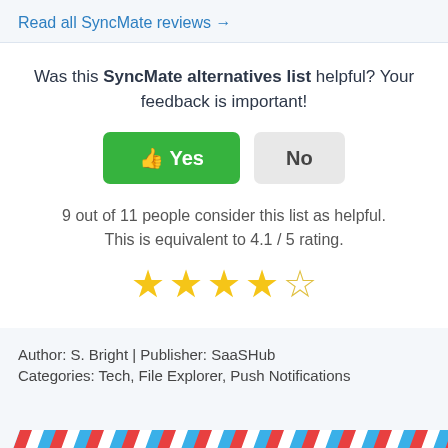Read all SyncMate reviews →
Was this SyncMate alternatives list helpful? Your feedback is important!
[Figure (other): Yes button (green with thumbs up emoji) and No button (gray)]
9 out of 11 people consider this list as helpful. This is equivalent to 4.1 / 5 rating.
[Figure (other): 4 filled gold stars and 1 empty star rating display]
Author: S. Bright | Publisher: SaaSHub
Categories: Tech, File Explorer, Push Notifications
[Figure (other): Decorative border strip with alternating red, white, and blue diagonal stripes at the bottom]